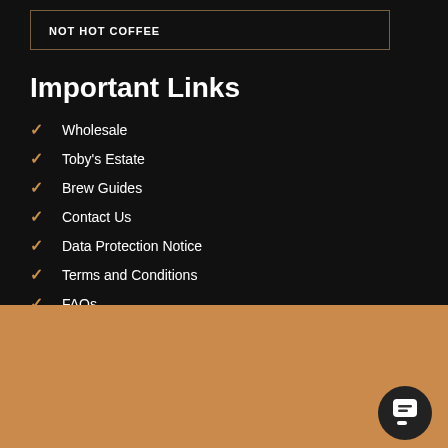NOT HOT COFFEE
Important Links
Wholesale
Toby's Estate
Brew Guides
Contact Us
Data Protection Notice
Terms and Conditions
FAQs
Terms for delivery: Orders are processed every Tuesday, picked up Wednesday Mornings and delivered within 1-4 days.
Dismiss